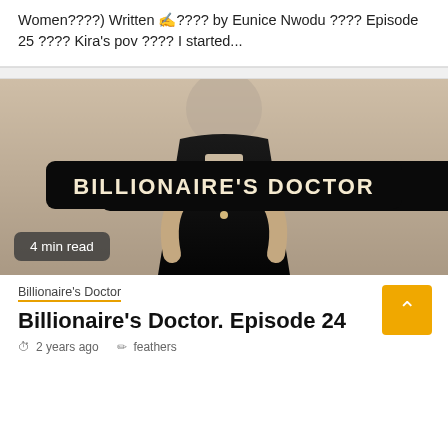Women????) Written ✍???? by Eunice Nwodu ???? Episode 25 ???? Kira's pov ???? I started...
[Figure (photo): Book cover image for 'Billionaire's Doctor' showing a woman in a black dress with a bold black banner reading 'BILLIONAIRE'S DOCTOR' in cream/white lettering. A '4 min read' badge appears in the lower left.]
4 min read
Billionaire's Doctor
Billionaire's Doctor. Episode 24
2 years ago   feathers